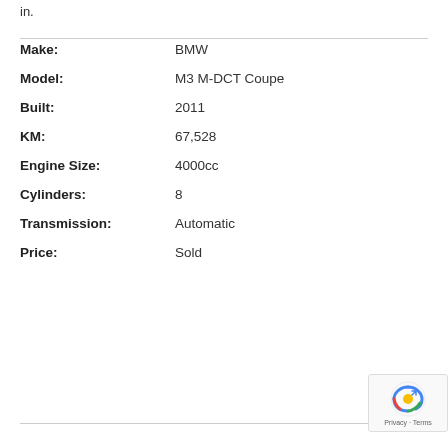in.
| Field | Value |
| --- | --- |
| Make: | BMW |
| Model: | M3 M-DCT Coupe |
| Built: | 2011 |
| KM: | 67,528 |
| Engine Size: | 4000cc |
| Cylinders: | 8 |
| Transmission: | Automatic |
| Price: | Sold |